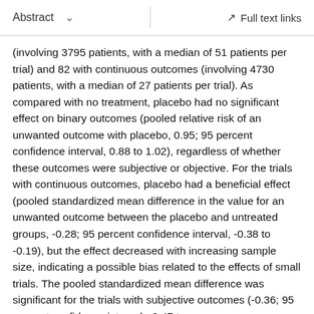Abstract   ∨   Full text links
(involving 3795 patients, with a median of 51 patients per trial) and 82 with continuous outcomes (involving 4730 patients, with a median of 27 patients per trial). As compared with no treatment, placebo had no significant effect on binary outcomes (pooled relative risk of an unwanted outcome with placebo, 0.95; 95 percent confidence interval, 0.88 to 1.02), regardless of whether these outcomes were subjective or objective. For the trials with continuous outcomes, placebo had a beneficial effect (pooled standardized mean difference in the value for an unwanted outcome between the placebo and untreated groups, -0.28; 95 percent confidence interval, -0.38 to -0.19), but the effect decreased with increasing sample size, indicating a possible bias related to the effects of small trials. The pooled standardized mean difference was significant for the trials with subjective outcomes (-0.36; 95 percent confidence interval, -0.47 to